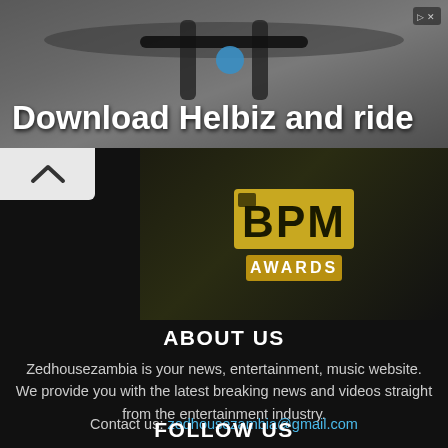[Figure (photo): Advertisement banner showing 'Download Helbiz and ride' with a photo of scooter/bicycle handlebars in background. Has an X close button in top right.]
[Figure (logo): BPM Awards logo on dark green background]
ABOUT US
Zedhousezambia is your news, entertainment, music website. We provide you with the latest breaking news and videos straight from the entertainment industry.
Contact us: zedhousezambia@gmail.com
FOLLOW US